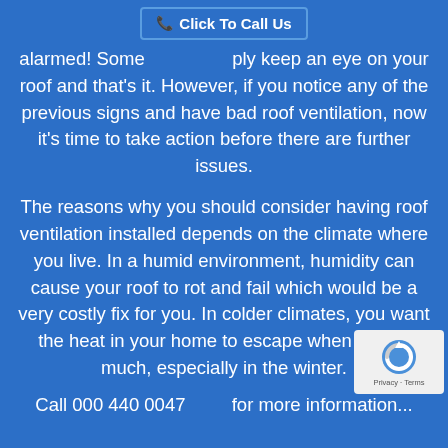Click To Call Us
alarmed! Some ply keep an eye on your roof and that's it. However, if you notice any of the previous signs and have bad roof ventilation, now it's time to take action before there are further issues.
The reasons why you should consider having roof ventilation installed depends on the climate where you live. In a humid environment, humidity can cause your roof to rot and fail which would be a very costly fix for you. In colder climates, you want the heat in your home to escape when it's too much, especially in the winter.
Call 000 440 0047 for more information...